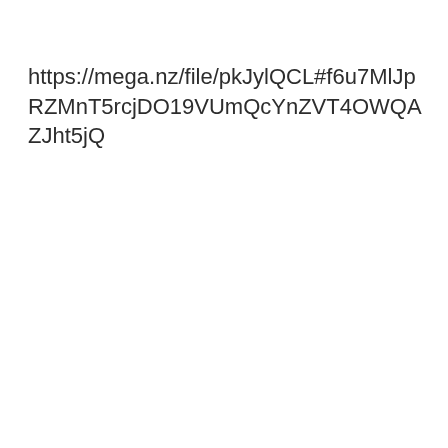https://mega.nz/file/pkJylQCL#f6u7MlJpRZMnT5rcjDO19VUmQcYnZVT4OWQAZJht5jQ